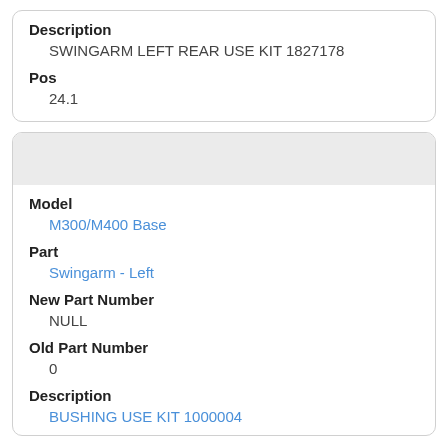Description
SWINGARM LEFT REAR USE KIT 1827178
Pos
24.1
Model
M300/M400 Base
Part
Swingarm - Left
New Part Number
NULL
Old Part Number
0
Description
BUSHING USE KIT 1000004